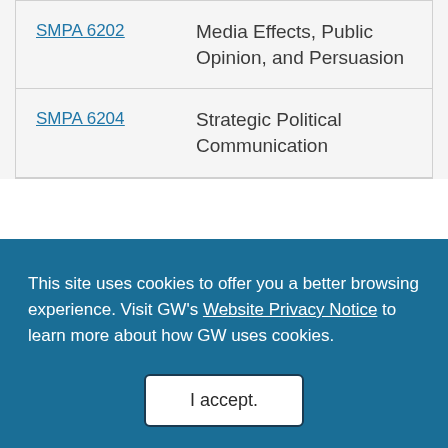| Course Code | Course Title |
| --- | --- |
| SMPA 6202 | Media Effects, Public Opinion, and Persuasion |
| SMPA 6204 | Strategic Political Communication |
This site uses cookies to offer you a better browsing experience. Visit GW's Website Privacy Notice to learn more about how GW uses cookies.
I accept.